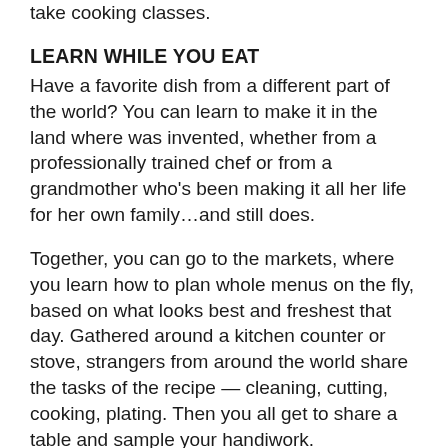take cooking classes.
LEARN WHILE YOU EAT
Have a favorite dish from a different part of the world? You can learn to make it in the land where was invented, whether from a professionally trained chef or from a grandmother who's been making it all her life for her own family…and still does.
Together, you can go to the markets, where you learn how to plan whole menus on the fly, based on what looks best and freshest that day. Gathered around a kitchen counter or stove, strangers from around the world share the tasks of the recipe — cleaning, cutting, cooking, plating. Then you all get to share a table and sample your handiwork.